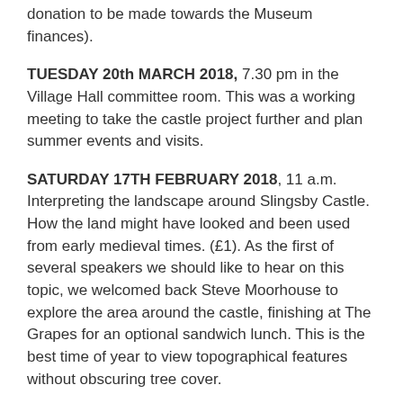donation to be made towards the Museum finances).
TUESDAY 20th MARCH 2018, 7.30 pm in the Village Hall committee room. This was a working meeting to take the castle project further and plan summer events and visits.
SATURDAY 17TH FEBRUARY 2018, 11 a.m. Interpreting the landscape around Slingsby Castle. How the land might have looked and been used from early medieval times. (£1). As the first of several speakers we should like to hear on this topic, we welcomed back Steve Moorhouse to explore the area around the castle, finishing at The Grapes for an optional sandwich lunch. This is the best time of year to view topographical features without obscuring tree cover.
TUESDAY 16TH JANUARY 2018, 7.30 p.m. in the